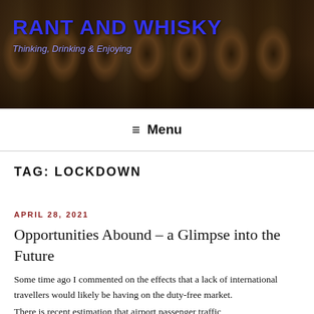[Figure (photo): Header banner showing a whisky barrel warehouse with rows of wooden barrels receding into the distance, dimly lit corridor]
RANT AND WHISKY
Thinking, Drinking & Enjoying
≡ Menu
TAG: LOCKDOWN
APRIL 28, 2021
Opportunities Abound – a Glimpse into the Future
Some time ago I commented on the effects that a lack of international travellers would likely be having on the duty-free market.
There is recent estimation that airport passenger traffic